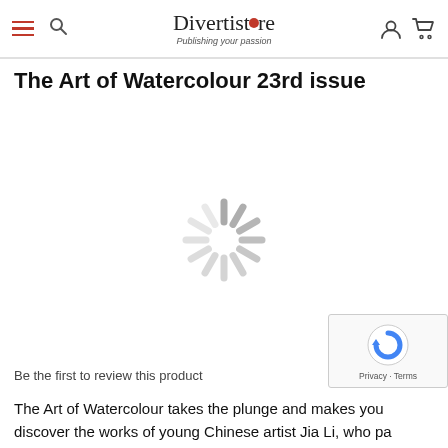Divertistore — Publishing your passion
The Art of Watercolour 23rd issue
[Figure (other): Loading spinner (animated circular spinner icon with radiating grey lines)]
Be the first to review this product
The Art of Watercolour takes the plunge and makes you discover the works of young Chinese artist Jia Li, who pa immersed bodies, rendering their beauty and the reflectio light on the skin. Human figure is also at the core of Anna